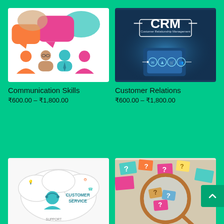[Figure (illustration): Colorful speech bubbles with four person silhouettes below in orange, beige, teal, and pink colors on white background]
Communication Skills
₹600.00 – ₹1,800.00
[Figure (illustration): Person holding smartphone with CRM (Customer Relationship Management) holographic display in dark blue tones]
Customer Relations
₹600.00 – ₹1,800.00
[Figure (illustration): Customer Service mind map with cloud shapes, person with headset, and text CUSTOMER SERVICE on white background]
[Figure (photo): Magnifying glass over colorful question mark pieces on a board]